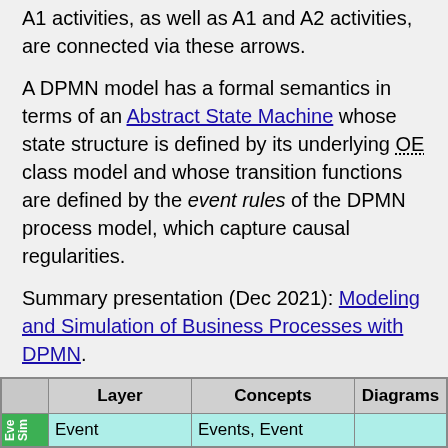A1 activities, as well as A1 and A2 activities, are connected via these arrows.
A DPMN model has a formal semantics in terms of an Abstract State Machine whose state structure is defined by its underlying OE class model and whose transition functions are defined by the event rules of the DPMN process model, which capture causal regularities.
Summary presentation (Dec 2021): Modeling and Simulation of Business Processes with DPMN.
The Layers of DPMN
|  | Layer | Concepts | Diagrams |
| --- | --- | --- | --- |
| Eve
Sim | Event | Events, Event |  |